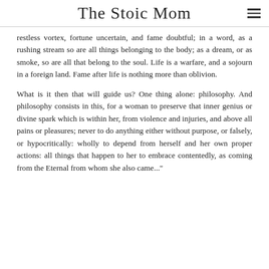The Stoic Mom
restless vortex, fortune uncertain, and fame doubtful; in a word, as a rushing stream so are all things belonging to the body; as a dream, or as smoke, so are all that belong to the soul. Life is a warfare, and a sojourn in a foreign land. Fame after life is nothing more than oblivion.
What is it then that will guide us? One thing alone: philosophy. And philosophy consists in this, for a woman to preserve that inner genius or divine spark which is within her, from violence and injuries, and above all pains or pleasures; never to do anything either without purpose, or falsely, or hypocritically: wholly to depend from herself and her own proper actions: all things that happen to her to embrace contentedly, as coming from the Eternal from whom she also came..."